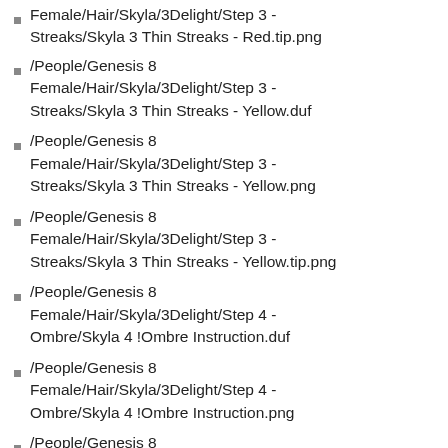/People/Genesis 8 Female/Hair/Skyla/3Delight/Step 3 - Streaks/Skyla 3 Thin Streaks - Red.tip.png
/People/Genesis 8 Female/Hair/Skyla/3Delight/Step 3 - Streaks/Skyla 3 Thin Streaks - Yellow.duf
/People/Genesis 8 Female/Hair/Skyla/3Delight/Step 3 - Streaks/Skyla 3 Thin Streaks - Yellow.png
/People/Genesis 8 Female/Hair/Skyla/3Delight/Step 3 - Streaks/Skyla 3 Thin Streaks - Yellow.tip.png
/People/Genesis 8 Female/Hair/Skyla/3Delight/Step 4 - Ombre/Skyla 4 !Ombre Instruction.duf
/People/Genesis 8 Female/Hair/Skyla/3Delight/Step 4 - Ombre/Skyla 4 !Ombre Instruction.png
/People/Genesis 8 Female/Hair/Skyla/3Delight/Step 4 - Ombre/Skyla 4 !Ombre Instruction.tip.png